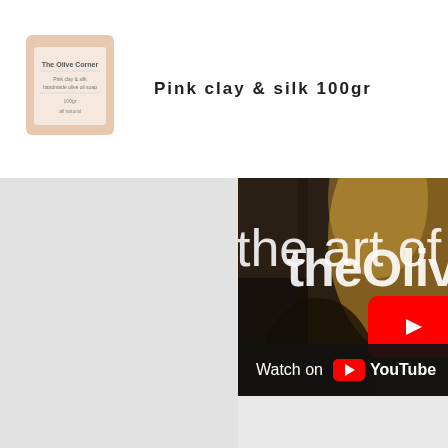[Figure (photo): Product photo of Pink clay & silk 100gr soap bar with label]
Pink clay & silk 100gr
[Figure (screenshot): YouTube video thumbnail showing 'theOliv' channel and 'the art of sc' text with Watch on YouTube overlay bar]